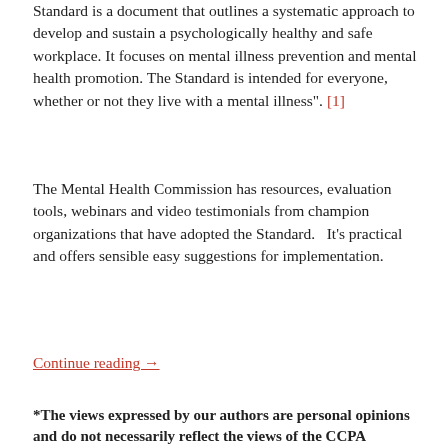Standard is a document that outlines a systematic approach to develop and sustain a psychologically healthy and safe workplace. It focuses on mental illness prevention and mental health promotion. The Standard is intended for everyone, whether or not they live with a mental illness". [1]
The Mental Health Commission has resources, evaluation tools, webinars and video testimonials from champion organizations that have adopted the Standard.   It's practical and offers sensible easy suggestions for implementation.
Continue reading →
*The views expressed by our authors are personal opinions and do not necessarily reflect the views of the CCPA